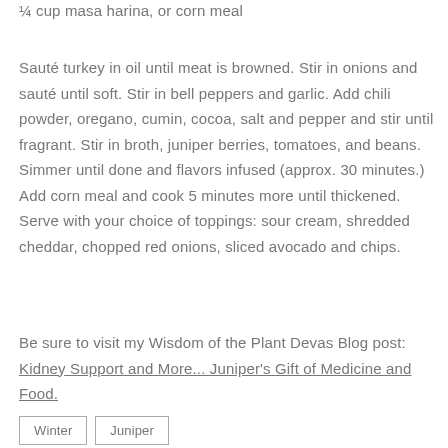¼ cup masa harina, or corn meal
Sauté turkey in oil until meat is browned. Stir in onions and sauté until soft. Stir in bell peppers and garlic. Add chili powder, oregano, cumin, cocoa, salt and pepper and stir until fragrant. Stir in broth, juniper berries, tomatoes, and beans. Simmer until done and flavors infused (approx. 30 minutes.) Add corn meal and cook 5 minutes more until thickened. Serve with your choice of toppings: sour cream, shredded cheddar, chopped red onions, sliced avocado and chips.
Be sure to visit my Wisdom of the Plant Devas Blog post: Kidney Support and More... Juniper's Gift of Medicine and Food.
Winter
Juniper